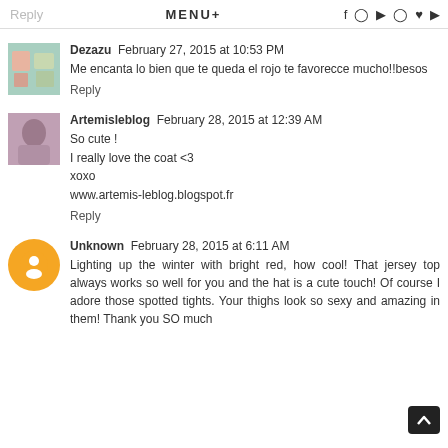Reply  MENU+
Dezazu  February 27, 2015 at 10:53 PM
Me encanta lo bien que te queda el rojo te favorecce mucho!!besos
Reply
Artemisleblog  February 28, 2015 at 12:39 AM
So cute !
I really love the coat <3
xoxo
www.artemis-leblog.blogspot.fr
Reply
Unknown  February 28, 2015 at 6:11 AM
Lighting up the winter with bright red, how cool! That jersey top always works so well for you and the hat is a cute touch! Of course I adore those spotted tights. Your thighs look so sexy and amazing in them! Thank you SO much